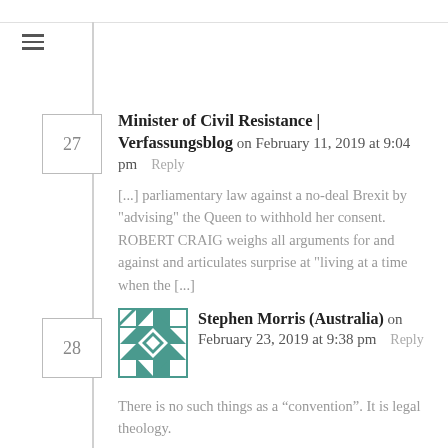27
Minister of Civil Resistance | Verfassungsblog on February 11, 2019 at 9:04 pm   Reply
[...] parliamentary law against a no-deal Brexit by "advising" the Queen to withhold her consent. ROBERT CRAIG weighs all arguments for and against and articulates surprise at "living at a time when the [...]
28
[Figure (illustration): Teal geometric avatar with diamond and triangle pattern for Stephen Morris (Australia)]
Stephen Morris (Australia) on February 23, 2019 at 9:38 pm   Reply
There is no such things as a “convention”. It is legal theology.